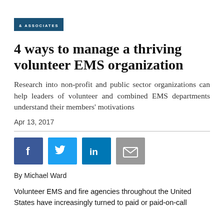& ASSOCIATES
4 ways to manage a thriving volunteer EMS organization
Research into non-profit and public sector organizations can help leaders of volunteer and combined EMS departments understand their members' motivations
Apr 13, 2017
[Figure (infographic): Social sharing buttons: Facebook, Twitter, LinkedIn, Email]
By Michael Ward
Volunteer EMS and fire agencies throughout the United States have increasingly turned to paid or paid-on-call staff…